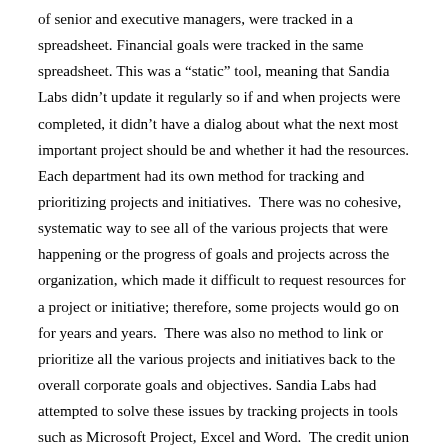of senior and executive managers, were tracked in a spreadsheet. Financial goals were tracked in the same spreadsheet. This was a “static” tool, meaning that Sandia Labs didn’t update it regularly so if and when projects were completed, it didn’t have a dialog about what the next most important project should be and whether it had the resources. Each department had its own method for tracking and prioritizing projects and initiatives.  There was no cohesive, systematic way to see all of the various projects that were happening or the progress of goals and projects across the organization, which made it difficult to request resources for a project or initiative; therefore, some projects would go on for years and years.  There was also no method to link or prioritize all the various projects and initiatives back to the overall corporate goals and objectives. Sandia Labs had attempted to solve these issues by tracking projects in tools such as Microsoft Project, Excel and Word.  The credit union spent a lot of time attempting to gather all the input for each department so that it could have a comprehensive list of projects, but that took so much time and effort that it never got to the point of being able to address the real concerns.  Sandia Labs knew what